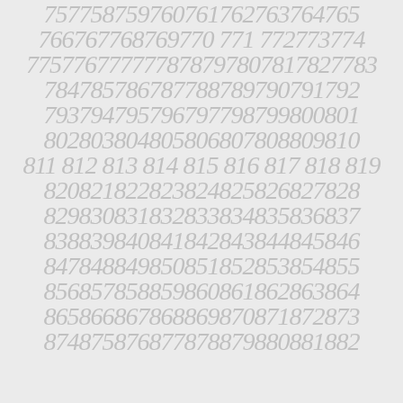757758759760761762763764765
766767768769770 771 772773774
775776777777787797807817827783
784785786787788789790791792
793794795796797798799800801
802803804805806807808809810
811 812 813 814 815 816 817 818 819
820821822823824825826827828
829830831832833834835836837
838839840841842843844845846
847848849850851852853854855
856857858859860861862863864
865866867868869870871872873
874875876877878879880881882